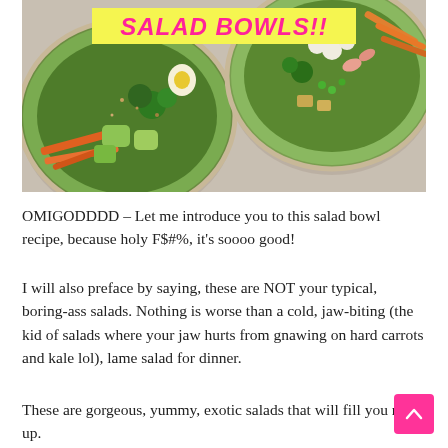[Figure (photo): Two large salad bowls photographed from above on a light background, filled with colorful vegetables including carrots, greens, avocado, and toppings. A yellow banner at the top reads 'SALAD BOWLS!!' in bold pink italic text.]
OMIGODDDD – Let me introduce you to this salad bowl recipe, because holy F$#%, it's soooo good!
I will also preface by saying, these are NOT your typical, boring-ass salads. Nothing is worse than a cold, jaw-biting (the kid of salads where your jaw hurts from gnawing on hard carrots and kale lol), lame salad for dinner.
These are gorgeous, yummy, exotic salads that will fill you right up.